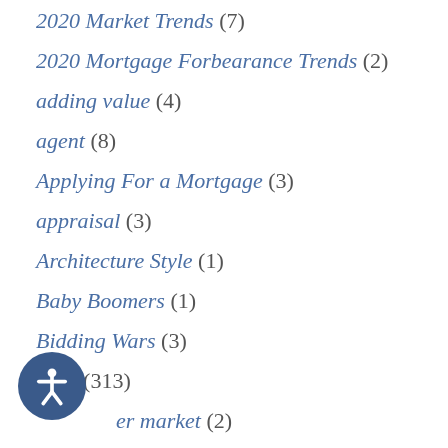2020 Market Trends (7)
2020 Mortgage Forbearance Trends (2)
adding value (4)
agent (8)
Applying For a Mortgage (3)
appraisal (3)
Architecture Style (1)
Baby Boomers (1)
Bidding Wars (3)
Blog (313)
buyer market (2)
buyers (12)